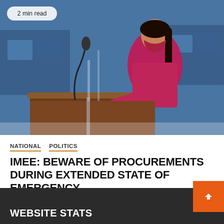[Figure (photo): Woman in pink/magenta blazer and red mask speaking at a podium with a microphone in what appears to be a legislative chamber. Badge reads '2 min read' in upper left corner.]
NATIONAL   POLITICS
IMEE: BEWARE OF PROCUREMENTS DURING EXTENDED STATE OF EMERGENCY
August 24, 2022   iNewsPh
WEBSITE STATS